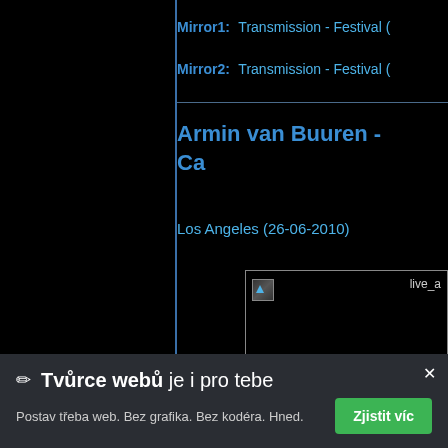Mirror1: Transmission - Festival (
Mirror2: Transmission - Festival (
Armin van Buuren - Ca
Los Angeles (26-06-2010)
[Figure (photo): Broken image placeholder with label 'live_a']
✏ Tvůrce webů je i pro tebe
Postav třeba web. Bez grafika. Bez kodéra. Hned.
Zjistit víc